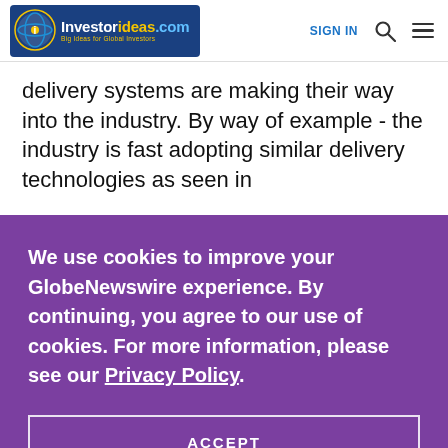Investorideas.com — Big Ideas for Global Investors | SIGN IN
delivery systems are making their way into the industry. By way of example - the industry is fast adopting similar delivery technologies as seen in
We use cookies to improve your GlobeNewswire experience. By continuing, you agree to our use of cookies. For more information, please see our Privacy Policy.
ACCEPT